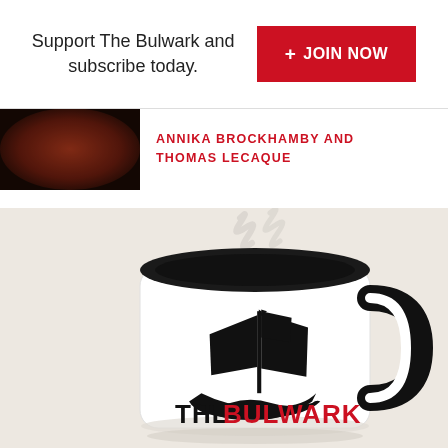Support The Bulwark and subscribe today.
+ JOIN NOW
ANNIKA BROCKHAMBY AND THOMAS LECAQUE
[Figure (photo): A white coffee mug with a black interior and black handle, featuring The Bulwark logo (a sailing ship silhouette above the text THE BULWARK in black and red), with steam rising from the top, on a light beige background.]